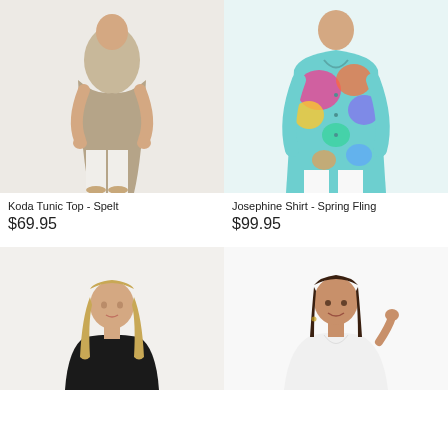[Figure (photo): Woman wearing a beige/spelt linen tunic top with white wide-leg pants and tan flat sandals, photographed against a white background.]
[Figure (photo): Woman wearing a colorful floral/spring print button-up shirt with white pants, photographed against a white background.]
Koda Tunic Top - Spelt
$69.95
Josephine Shirt - Spring Fling
$99.95
[Figure (photo): Woman with long blonde hair wearing a dark (black) top, cropped view from shoulders up.]
[Figure (photo): Woman with dark hair wearing a white V-neck top, smiling, photographed against white background.]